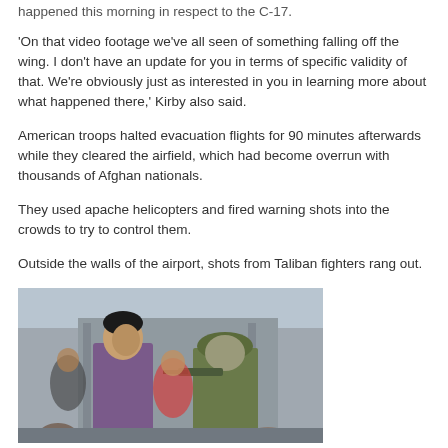happened this morning in respect to the C-17.
'On that video footage we've all seen of something falling off the wing. I don't have an update for you in terms of specific validity of that. We're obviously just as interested in you in learning more about what happened there,' Kirby also said.
American troops halted evacuation flights for 90 minutes afterwards while they cleared the airfield, which had become overrun with thousands of Afghan nationals.
They used apache helicopters and fired warning shots into the crowds to try to control them.
Outside the walls of the airport, shots from Taliban fighters rang out.
[Figure (photo): Photo of an Afghan civilian in a purple shirt facing a US soldier in full military gear with helmet and rifle, at an airport location with other people visible in the background.]